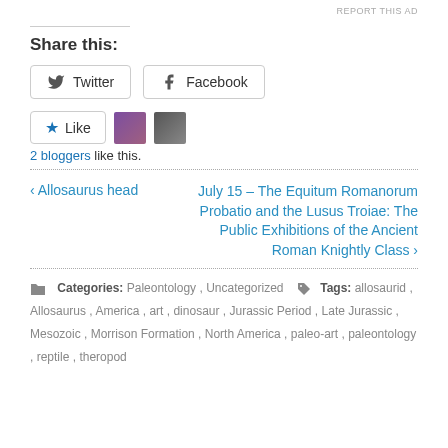REPORT THIS AD
Share this:
Twitter  Facebook
Like  2 bloggers like this.
‹ Allosaurus head
July 15 – The Equitum Romanorum Probatio and the Lusus Troiae: The Public Exhibitions of the Ancient Roman Knightly Class ›
Categories: Paleontology , Uncategorized   Tags: allosaurid , Allosaurus , America , art , dinosaur , Jurassic Period , Late Jurassic , Mesozoic , Morrison Formation , North America , paleo-art , paleontology , reptile , theropod